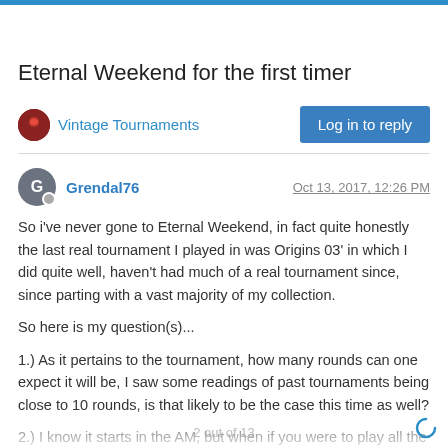Eternal Weekend for the first timer
Vintage Tournaments
Log in to reply
Grendal76
Oct 13, 2017, 12:26 PM
So i've never gone to Eternal Weekend, in fact quite honestly the last real tournament I played in was Origins 03' in which I did quite well, haven't had much of a real tournament since, since parting with a vast majority of my collection.
So here is my question(s)...
1.) As it pertains to the tournament, how many rounds can one expect it will be, I saw some readings of past tournaments being close to 10 rounds, is that likely to be the case this time as well?
2.) I know it starts in the AM, but when if you were to play all the rounds would it likely end, is it safe to assume that this would/could